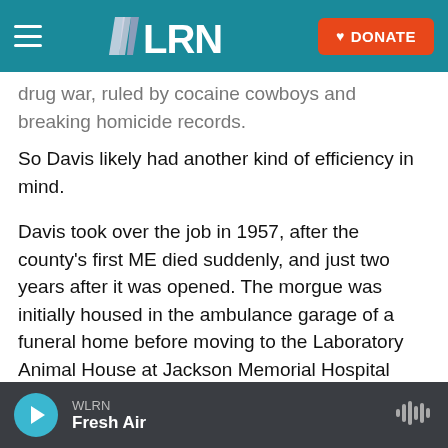[Figure (screenshot): WLRN navigation bar with hamburger menu, WLRN logo, and orange DONATE button]
drug war, ruled by cocaine cowboys and breaking homicide records.
So Davis likely had another kind of efficiency in mind.
Davis took over the job in 1957, after the county's first ME died suddenly, and just two years after it was opened. The morgue was initially housed in the ambulance garage of a funeral home before moving to the Laboratory Animal House at Jackson Memorial Hospital where rabbits and guinea pigs were stashed for pregnancy and tuberculosis
WLRN  Fresh Air